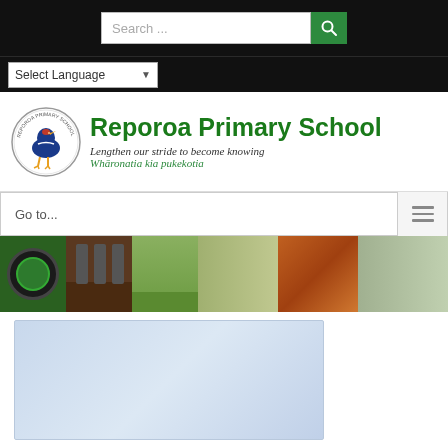[Figure (screenshot): Search bar with text 'Search ...' and green search button with magnifying glass icon, on black background]
[Figure (screenshot): Select Language dropdown on black background]
[Figure (logo): Reporoa Primary School circular logo with pukeko bird]
Reporoa Primary School
Lengthen our stride to become knowing
Whāronatia kia pukekotia
Go to...
[Figure (photo): Strip of school photos showing children in various activities]
[Figure (photo): Light blue/grey placeholder content area]